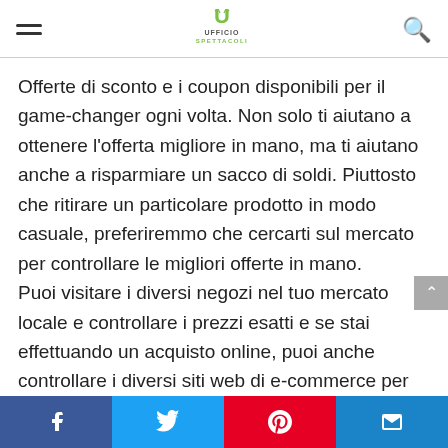Ufficio Spettacoli
Offerte di sconto e i coupon disponibili per il game-changer ogni volta. Non solo ti aiutano a ottenere l'offerta migliore in mano, ma ti aiutano anche a risparmiare un sacco di soldi. Piuttosto che ritirare un particolare prodotto in modo casuale, preferiremmo che cercarti sul mercato per controllare le migliori offerte in mano.
Puoi visitare i diversi negozi nel tuo mercato locale e controllare i prezzi esatti e se stai effettuando un acquisto online, puoi anche controllare i diversi siti web di e-commerce per ottenere le migliori offerte in mano.
Le festività natalizie spesse portano un sacco di
Facebook Twitter Pinterest Email